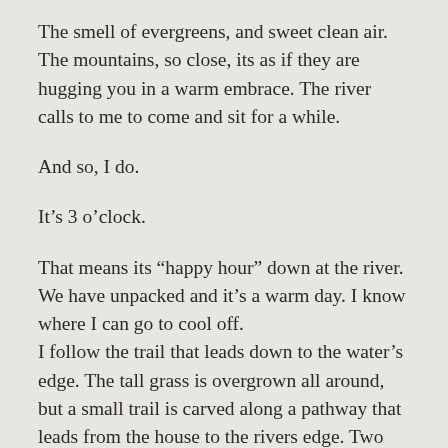The smell of evergreens, and sweet clean air. The mountains, so close, its as if they are hugging you in a warm embrace. The river calls to me to come and sit for a while.
And so, I do.
It’s 3 o’clock.
That means its “happy hour” down at the river. We have unpacked and it’s a warm day. I know where I can go to cool off. I follow the trail that leads down to the water’s edge. The tall grass is overgrown all around, but a small trail is carved along a pathway that leads from the house to the rivers edge. Two